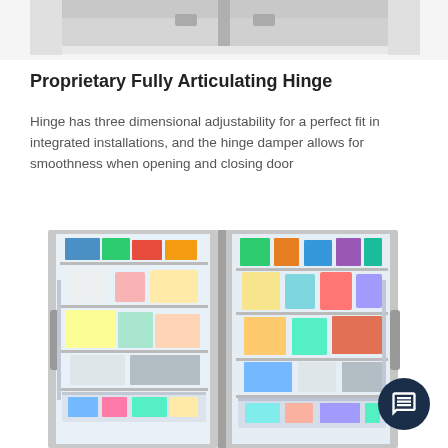[Figure (photo): Top portion of stainless steel refrigerator/freezer unit showing top hinges and cabinet top, cropped at top of page]
Proprietary Fully Articulating Hinge
Hinge has three dimensional adjustability for a perfect fit in integrated installations, and the hinge damper allows for smoothness when opening and closing door
[Figure (photo): Open side-by-side refrigerator and freezer columns showing interior shelves filled with food items, stainless steel exterior]